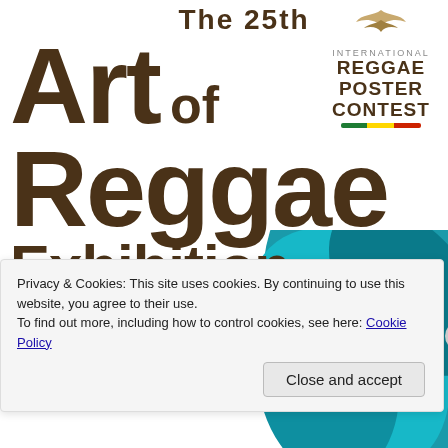[Figure (illustration): Teal decorative swirling shape in the bottom-right corner of the poster, partially obscured]
[Figure (logo): International Reggae Poster Contest logo - bird/dove graphic above text, with INTERNATIONAL REGGAE POSTER CONTEST text and red/yellow/green striped bar]
The 25th ART OF REGGAE EXHIBITION
SUNDAY, MARCH 31, 2019
GUEST SPEAKERS:
Privacy & Cookies: This site uses cookies. By continuing to use this website, you agree to their use.
To find out more, including how to control cookies, see here: Cookie Policy
Close and accept